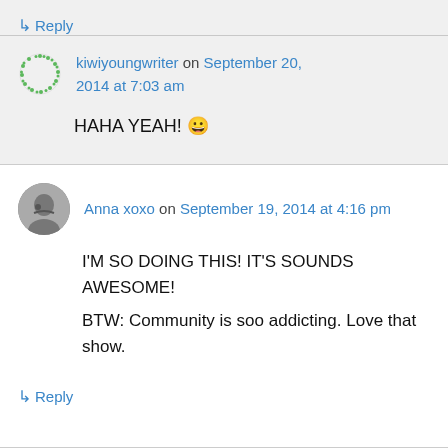↳ Reply
kiwiyoungwriter on September 20, 2014 at 7:03 am
HAHA YEAH! 😀
Anna xoxo on September 19, 2014 at 4:16 pm
I'M SO DOING THIS! IT'S SOUNDS AWESOME!
BTW: Community is soo addicting. Love that show.
↳ Reply